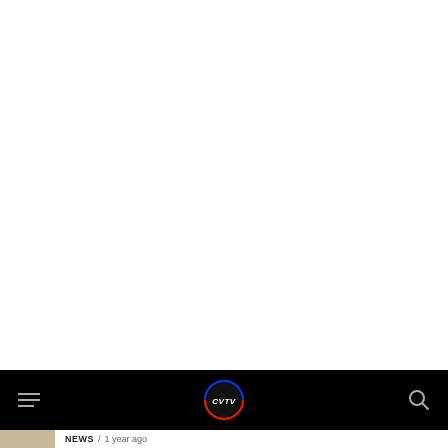[Figure (screenshot): White empty area (blank content region above navigation bar)]
CVTV navigation bar with hamburger menu, CVTV logo, and search icon on black background
NEWS / 1 year ago